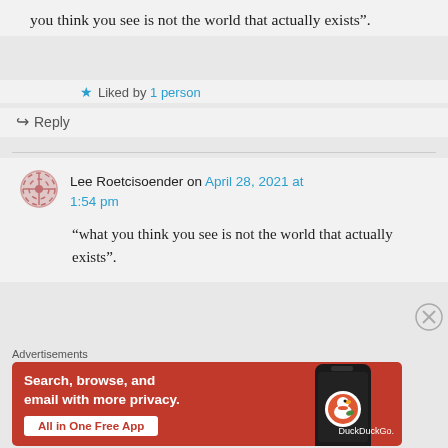you think you see is not the world that actually exists”.
Liked by 1 person
Reply
Lee Roetcisoender on April 28, 2021 at 1:54 pm
“what you think you see is not the world that actually exists”.
Advertisements
[Figure (screenshot): DuckDuckGo advertisement banner: orange/red background with text 'Search, browse, and email with more privacy. All in One Free App' and DuckDuckGo logo on phone mockup]